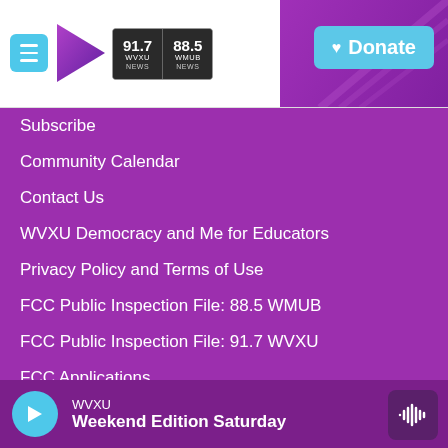[Figure (screenshot): WVXU/WMUB radio station website header with logo (91.7 WVXU NEWS | 88.5 WMUB NEWS), menu button, play arrow, and Donate button on purple/blue background]
Subscribe
Community Calendar
Contact Us
WVXU Democracy and Me for Educators
Privacy Policy and Terms of Use
FCC Public Inspection File: 88.5 WMUB
FCC Public Inspection File: 91.7 WVXU
FCC Applications
WVXU Weekend Edition Saturday